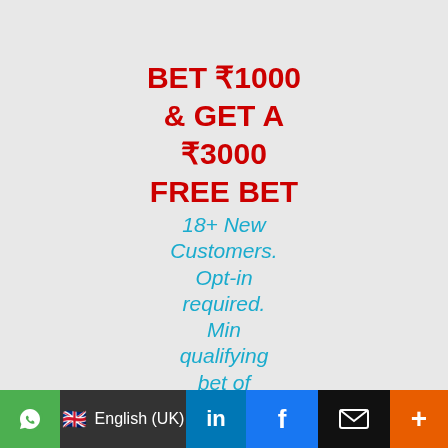BET ₹1000 & GET A ₹3000 FREE BET 18+ New Customers. Opt-in required. Min qualifying bet of ₹1000 at odds of 1.6 which must be settled within 7 days. T+Cs apply. Play available...
WhatsApp | English (UK) | in | f | email | +